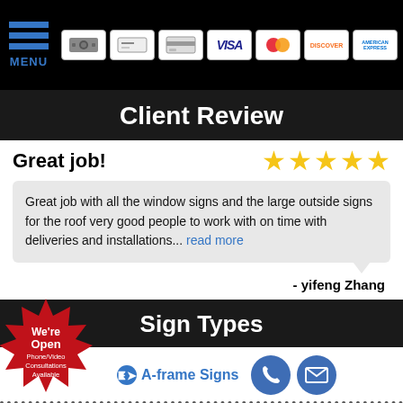[Figure (screenshot): Top navigation bar with hamburger menu icon (blue lines, MENU label) and payment method icons (cash, check, credit card, VISA, Mastercard, Discover, American Express) on black background]
Client Review
Great job!
[Figure (other): 5 gold star rating icons]
Great job with all the window signs and the large outside signs for the roof very good people to work with on time with deliveries and installations... read more
- yifeng Zhang
Sign Types
[Figure (other): We're Open / Phone/Video Consultations Available red starburst badge]
A-frame Signs
[Figure (other): Blue circle phone icon and blue circle email icon]